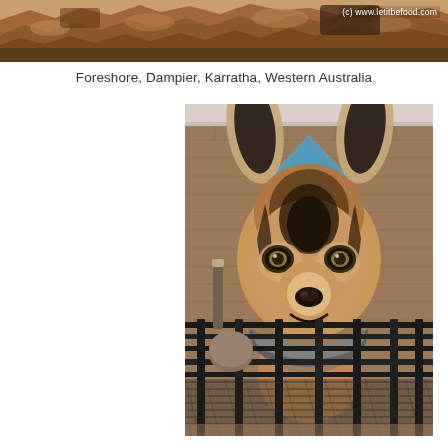[Figure (photo): Top banner photo showing rocky foreshore/landscape with reddish-brown rocks and dirt, with watermark '(c) www.letitbefood.com' in top right corner]
Foreshore, Dampier, Karratha, Western Australia
[Figure (photo): Street art mural on a brick wall depicting a German Shepherd dog face painted in brown and black tones with large ears, looking forward. In front of the mural are black metal railings and chain-link fence. A blue diamond shape is visible in the background behind the dog's head.]